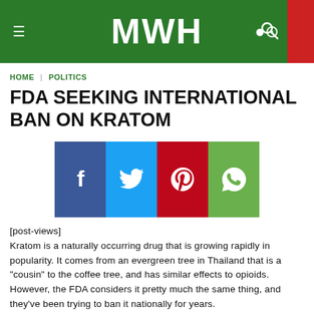MWH
HOME | POLITICS
FDA SEEKING INTERNATIONAL BAN ON KRATOM
[Figure (infographic): Social media share buttons: Facebook (blue), Twitter (light blue), Pinterest (red), WhatsApp (green)]
[post-views]
Kratom is a naturally occurring drug that is growing rapidly in popularity. It comes from an evergreen tree in Thailand that is a “cousin” to the coffee tree, and has similar effects to opioids. However, the FDA considers it pretty much the same thing, and they’ve been trying to ban it nationally for years.